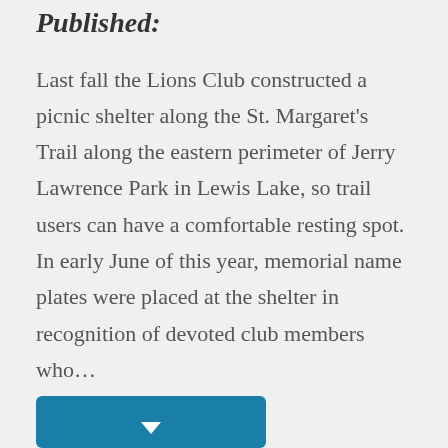Published:
Last fall the Lions Club constructed a picnic shelter along the St. Margaret's Trail along the eastern perimeter of Jerry Lawrence Park in Lewis Lake, so trail users can have a comfortable resting spot. In early June of this year, memorial name plates were placed at the shelter in recognition of devoted club members who…